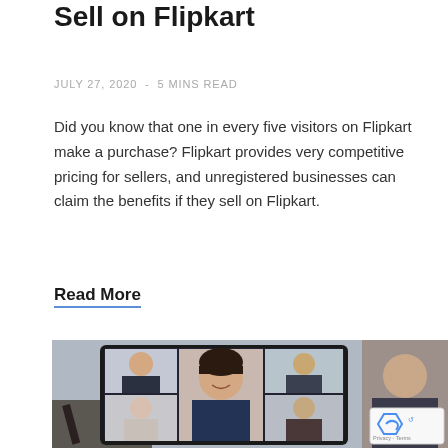Sell on Flipkart
JULY 27, 2020 - 5 MINS READ
Did you know that one in every five visitors on Flipkart make a purchase? Flipkart provides very competitive pricing for sellers, and unregistered businesses can claim the benefits if they sell on Flipkart.
Read More
[Figure (photo): A laptop screen showing a video conference call with multiple participants including a smiling woman in the center, with other participants in smaller grid tiles around her.]